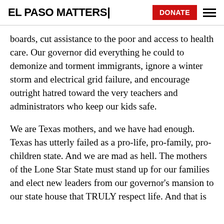EL PASO MATTERS
boards, cut assistance to the poor and access to health care. Our governor did everything he could to demonize and torment immigrants, ignore a winter storm and electrical grid failure, and encourage outright hatred toward the very teachers and administrators who keep our kids safe.
We are Texas mothers, and we have had enough. Texas has utterly failed as a pro-life, pro-family, pro-children state. And we are mad as hell. The mothers of the Lone Star State must stand up for our families and elect new leaders from our governor's mansion to our state house that TRULY respect life. And that is